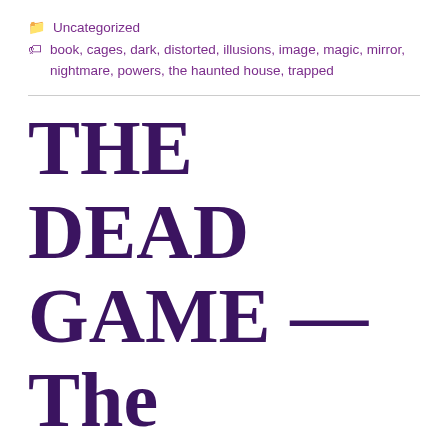Uncategorized
book, cages, dark, distorted, illusions, image, magic, mirror, nightmare, powers, the haunted house, trapped
THE DEAD GAME — The Journey into Hell and